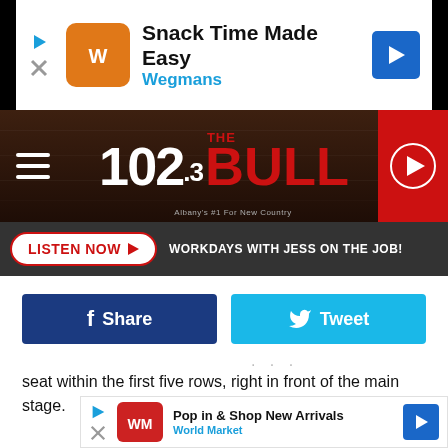[Figure (screenshot): Top ad banner: Snack Time Made Easy - Wegmans advertisement]
[Figure (logo): 102.3 The Bull radio station logo on dark wood background with red play button]
LISTEN NOW ▶  WORKDAYS WITH JESS ON THE JOB!
[Figure (screenshot): Facebook Share button (dark blue) and Twitter Tweet button (light blue)]
seat within the first five rows, right in front of the main stage.
[Figure (screenshot): Bottom ad banner: Pop in & Shop New Arrivals - World Market advertisement]